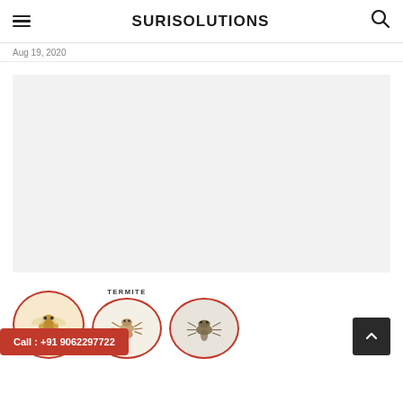☰ SURISOLUTIONS 🔍
Aug 19, 2020
[Figure (other): Large light gray placeholder image area for a blog post on the Surisolutions website]
[Figure (photo): Pest control images showing wasp/hornet, termite (labeled TERMITE), and cockroach in red circular frames at the bottom of the page]
Call : +91 9062297722